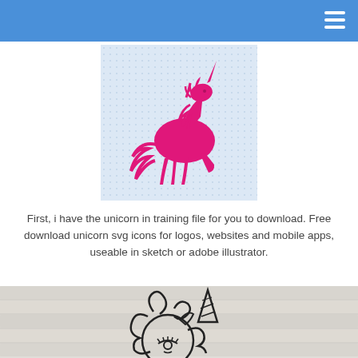[Figure (illustration): Pink silhouette of a rearing unicorn on a light blue dotted/grid background square]
First, i have the unicorn in training file for you to download. Free download unicorn svg icons for logos, websites and mobile apps, useable in sketch or adobe illustrator.
[Figure (illustration): Black and white line art drawing of a unicorn head with flowing mane and spiral horn on a white wood plank background]